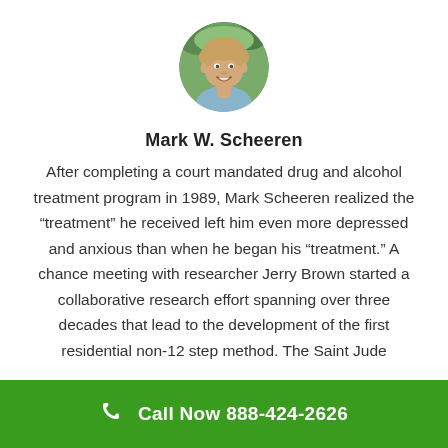[Figure (photo): Circular headshot portrait of Mark W. Scheeren, a man smiling outdoors]
Mark W. Scheeren
After completing a court mandated drug and alcohol treatment program in 1989, Mark Scheeren realized the “treatment” he received left him even more depressed and anxious than when he began his “treatment.” A chance meeting with researcher Jerry Brown started a collaborative research effort spanning over three decades that lead to the development of the first residential non-12 step method. The Saint Jude
Call Now 888-424-2626